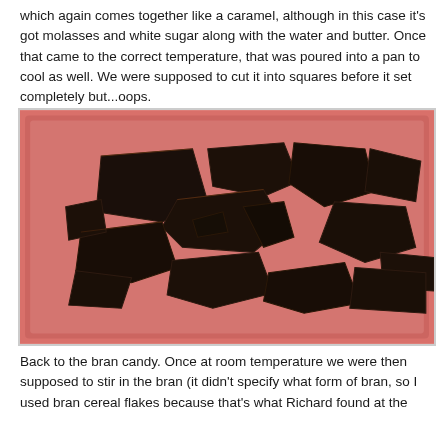which again comes together like a caramel, although in this case it's got molasses and white sugar along with the water and butter. Once that came to the correct temperature, that was poured into a pan to cool as well. We were supposed to cut it into squares before it set completely but...oops.
[Figure (photo): A photo of broken dark molasses candy pieces scattered on a red/pink surface. The candy is very dark brown, almost black, broken into irregular jagged triangular and polygonal shards, shown on what appears to be a red cutting board or pan.]
Back to the bran candy. Once at room temperature we were then supposed to stir in the bran (it didn't specify what form of bran, so I used bran cereal flakes because that's what Richard found at the